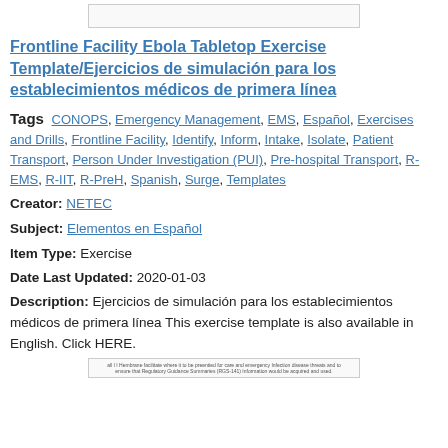[Figure (other): Top image bar placeholder]
Frontline Facility Ebola Tabletop Exercise Template/Ejercicios de simulación para los establecimientos médicos de primera línea
Tags  CONOPS, Emergency Management, EMS, Español, Exercises and Drills, Frontline Facility, Identify, Inform, Intake, Isolate, Patient Transport, Person Under Investigation (PUI), Pre-hospital Transport, R-EMS, R-IIT, R-PreH, Spanish, Surge, Templates
Creator: NETEC
Subject: Elementos en Español
Item Type: Exercise
Date Last Updated: 2020-01-03
Description: Ejercicios de simulación para los establecimientos médicos de primera línea This exercise template is also available in English. Click HERE.
[Figure (other): Bottom image thumbnail with small text]